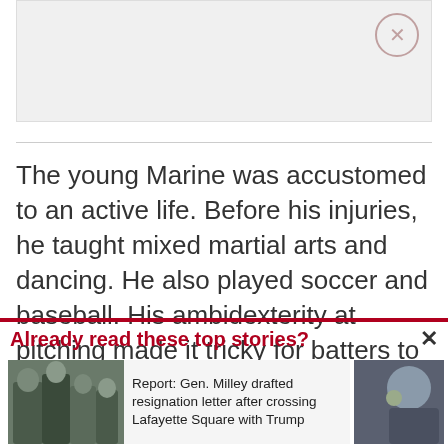[Figure (other): Advertisement placeholder box with close button (X in circle) at top right]
The young Marine was accustomed to an active life. Before his injuries, he taught mixed martial arts and dancing. He also played soccer and baseball. His ambidexterity at pitching made it tricky for batters to hit.
Already read these top stories?
[Figure (photo): Photo of group of people walking, including military figures]
Report: Gen. Milley drafted resignation letter after crossing Lafayette Square with Trump
[Figure (photo): Photo of a person]